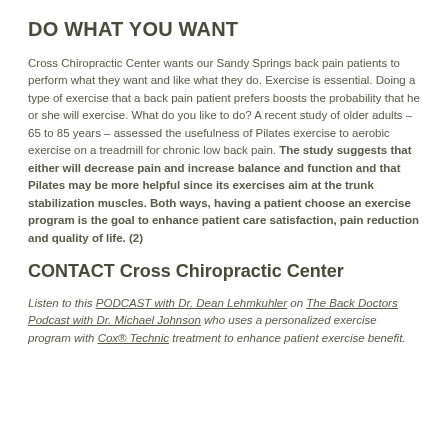DO WHAT YOU WANT
Cross Chiropractic Center wants our Sandy Springs back pain patients to perform what they want and like what they do. Exercise is essential. Doing a type of exercise that a back pain patient prefers boosts the probability that he or she will exercise. What do you like to do? A recent study of older adults – 65 to 85 years – assessed the usefulness of Pilates exercise to aerobic exercise on a treadmill for chronic low back pain. The study suggests that either will decrease pain and increase balance and function and that Pilates may be more helpful since its exercises aim at the trunk stabilization muscles. Both ways, having a patient choose an exercise program is the goal to enhance patient care satisfaction, pain reduction and quality of life. (2)
CONTACT Cross Chiropractic Center
Listen to this PODCAST with Dr. Dean Lehmkuhler on The Back Doctors Podcast with Dr. Michael Johnson who uses a personalized exercise program with Cox® Technic treatment to enhance patient exercise benefit.